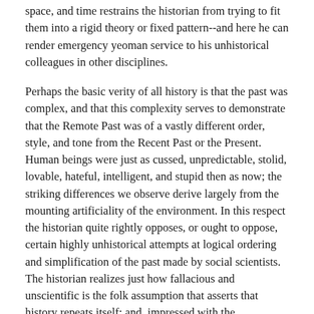space, and time restrains the historian from trying to fit them into a rigid theory or fixed pattern--and here he can render emergency yeoman service to his unhistorical colleagues in other disciplines.
Perhaps the basic verity of all history is that the past was complex, and that this complexity serves to demonstrate that the Remote Past was of a vastly different order, style, and tone from the Recent Past or the Present. Human beings were just as cussed, unpredictable, stolid, lovable, hateful, intelligent, and stupid then as now; the striking differences we observe derive largely from the mounting artificiality of the environment. In this respect the historian quite rightly opposes, or ought to oppose, certain highly unhistorical attempts at logical ordering and simplification of the past made by social scientists. The historian realizes just how fallacious and unscientific is the folk assumption that asserts that history repeats itself; and, impressed with the uniqueness of events, he prefers the concrete to the generalized or the abstract.